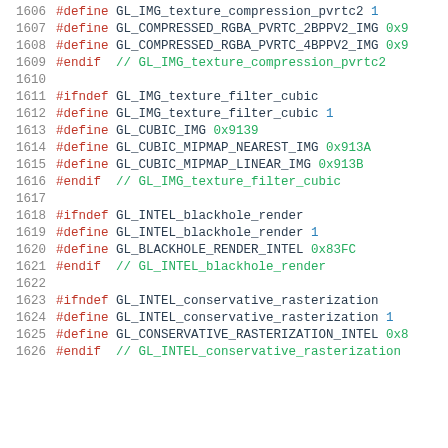1606  #define GL_IMG_texture_compression_pvrtc2 1
1607  #define GL_COMPRESSED_RGBA_PVRTC_2BPPV2_IMG 0x9...
1608  #define GL_COMPRESSED_RGBA_PVRTC_4BPPV2_IMG 0x9...
1609  #endif // GL_IMG_texture_compression_pvrtc2
1610
1611  #ifndef GL_IMG_texture_filter_cubic
1612  #define GL_IMG_texture_filter_cubic 1
1613  #define GL_CUBIC_IMG 0x9139
1614  #define GL_CUBIC_MIPMAP_NEAREST_IMG 0x913A
1615  #define GL_CUBIC_MIPMAP_LINEAR_IMG 0x913B
1616  #endif // GL_IMG_texture_filter_cubic
1617
1618  #ifndef GL_INTEL_blackhole_render
1619  #define GL_INTEL_blackhole_render 1
1620  #define GL_BLACKHOLE_RENDER_INTEL 0x83FC
1621  #endif // GL_INTEL_blackhole_render
1622
1623  #ifndef GL_INTEL_conservative_rasterization
1624  #define GL_INTEL_conservative_rasterization 1
1625  #define GL_CONSERVATIVE_RASTERIZATION_INTEL 0x8...
1626  #endif // GL_INTEL_conservative_rasterization